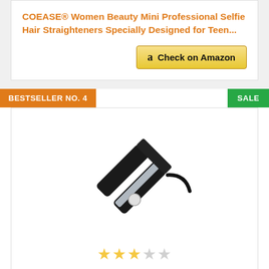COEASE® Women Beauty Mini Professional Selfie Hair Straighteners Specially Designed for Teen...
[Figure (other): Amazon 'Check on Amazon' button with Amazon logo]
BESTSELLER NO. 4
SALE
[Figure (photo): Black hair straightener / flat iron product photo on white background]
★★★☆☆ (3 out of 5 stars rating)
Arzet Hair Straightener (Multicolour)